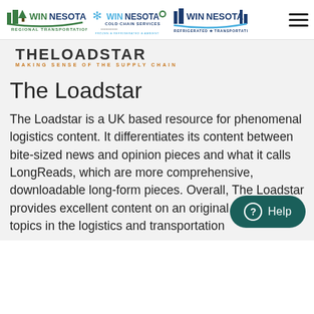[Figure (logo): Winnesota Regional Transportation, Winnesota Cold Chain Services, and Winnesota Refrigerated Transportation logos with hamburger menu icon]
[Figure (logo): The Loadstar logo — THELOADSTAR in stylized text with tagline MAKING SENSE OF THE SUPPLY CHAIN]
The Loadstar
The Loadstar is a UK based resource for phenomenal logistics content. It differentiates its content between bite-sized news and opinion pieces and what it calls LongReads, which are more comprehensive, downloadable long-form pieces. Overall, The Loadstar provides excellent content on an original array of topics in the logistics and transportation